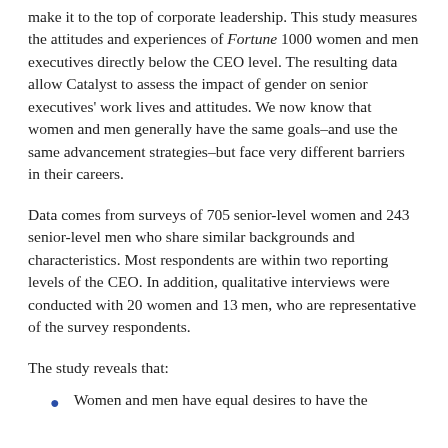make it to the top of corporate leadership. This study measures the attitudes and experiences of Fortune 1000 women and men executives directly below the CEO level. The resulting data allow Catalyst to assess the impact of gender on senior executives' work lives and attitudes. We now know that women and men generally have the same goals–and use the same advancement strategies–but face very different barriers in their careers.
Data comes from surveys of 705 senior-level women and 243 senior-level men who share similar backgrounds and characteristics. Most respondents are within two reporting levels of the CEO. In addition, qualitative interviews were conducted with 20 women and 13 men, who are representative of the survey respondents.
The study reveals that:
Women and men have equal desires to have the